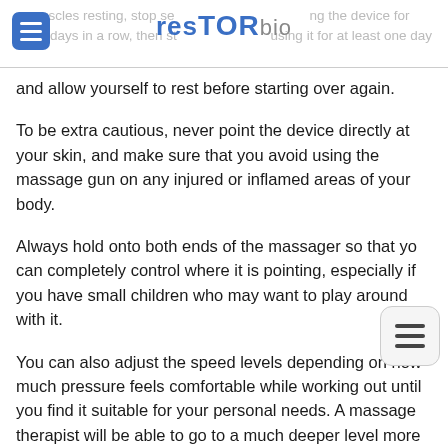resTORbio
ur muscles resting, stop using the device for a few days in a row, then stop using it for at least one day and allow yourself to rest before starting over again.
To be extra cautious, never point the device directly at your skin, and make sure that you avoid using the massage gun on any injured or inflamed areas of your body.
Always hold onto both ends of the massager so that you can completely control where it is pointing, especially if you have small children who may want to play around with it.
You can also adjust the speed levels depending on how much pressure feels comfortable while working out until you find it suitable for your personal needs. A massage therapist will be able to go to a much deeper level more safely than any device (massage physical therapist)